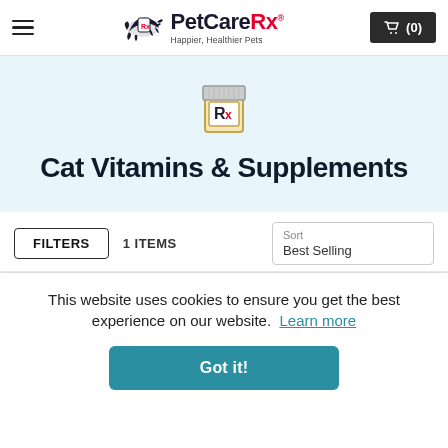PetCareRx – Happier, Healthier Pets | Cart (0)
[Figure (logo): PetCareRx logo with running cat silhouette and Rx prescription bottle icon, tagline: Happier, Healthier Pets]
Cat Vitamins & Supplements
FILTERS   1 ITEMS   Sort   Best Selling
This website uses cookies to ensure you get the best experience on our website.  Learn more
Got it!